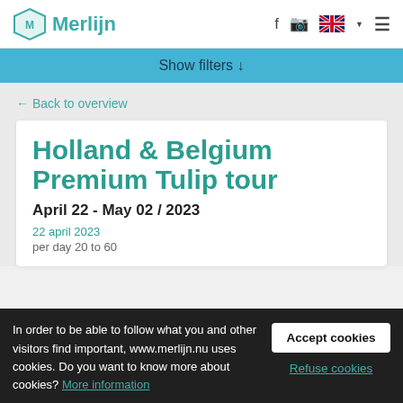Merlijn
Show filters ↓
← Back to overview
Holland & Belgium Premium Tulip tour
April 22 - May 02 / 2023
22 april 2023
per day 20 to 60
In order to be able to follow what you and other visitors find important, www.merlijn.nu uses cookies. Do you want to know more about cookies? More information
Accept cookies
Refuse cookies